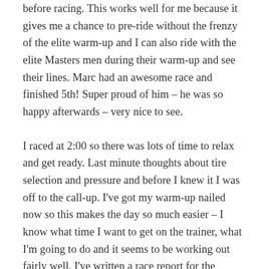before racing. This works well for me because it gives me a chance to pre-ride without the frenzy of the elite warm-up and I can also ride with the elite Masters men during their warm-up and see their lines. Marc had an awesome race and finished 5th! Super proud of him – he was so happy afterwards – very nice to see.
I raced at 2:00 so there was lots of time to relax and get ready. Last minute thoughts about tire selection and pressure and before I knew it I was off to the call-up. I've got my warm-up nailed now so this makes the day so much easier – I know what time I want to get on the trainer, what I'm going to do and it seems to be working out fairly well. I've written a race report for the second day of racing here.
But for those of you who want to know the details on